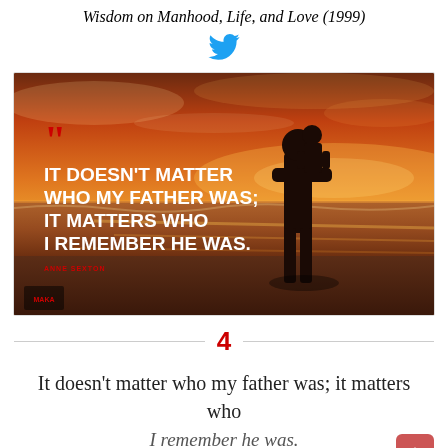Wisdom on Manhood, Life, and Love (1999)
[Figure (illustration): A inspirational quote image showing silhouettes of a father holding a child at a beach sunset. Quote reads: IT DOESN'T MATTER WHO MY FATHER WAS; IT MATTERS WHO I REMEMBER HE WAS. - ANNE SEXTON]
4
It doesn't matter who my father was; it matters who I remember he was.